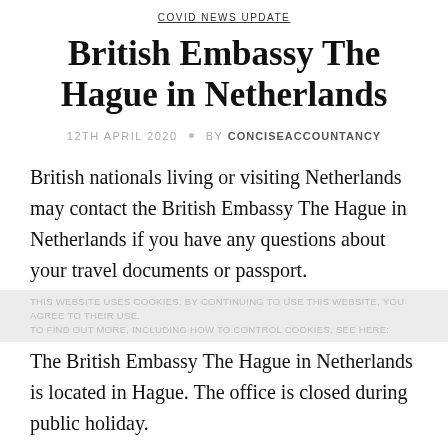COVID NEWS UPDATE
British Embassy The Hague in Netherlands
12TH APRIL 2020 • BY CONCISEACCOUNTANCY
British nationals living or visiting Netherlands may contact the British Embassy The Hague in Netherlands if you have any questions about your travel documents or passport.
The British Embassy The Hague in Netherlands is located in Hague. The office is closed during public holiday.